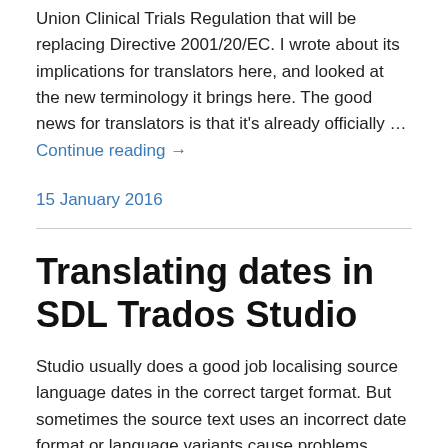Union Clinical Trials Regulation that will be replacing Directive 2001/20/EC. I wrote about its implications for translators here, and looked at the new terminology it brings here. The good news for translators is that it's already officially … Continue reading →
15 January 2016
Translating dates in SDL Trados Studio
Studio usually does a good job localising source language dates in the correct target format. But sometimes the source text uses an incorrect date format or language variants cause problems. Here's a quick look at how date auto-substitution should work out of the box, and how to